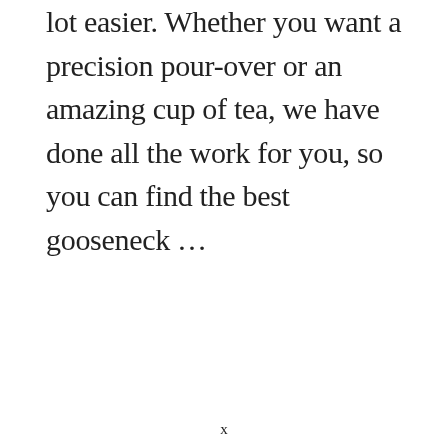lot easier. Whether you want a precision pour-over or an amazing cup of tea, we have done all the work for you, so you can find the best gooseneck …
x